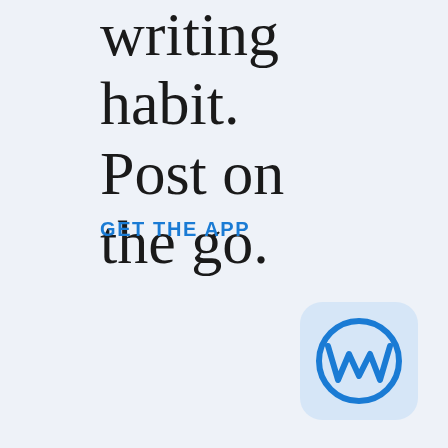writing habit. Post on the go.
GET THE APP
[Figure (logo): WordPress app icon — rounded square with light blue background containing a blue circle with stylized W letter logo]